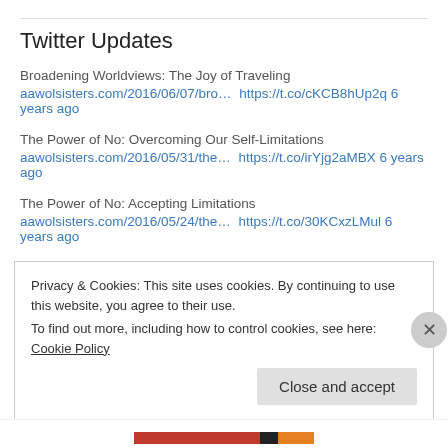Twitter Updates
Broadening Worldviews: The Joy of Traveling
aawolsisters.com/2016/06/07/bro… https://t.co/cKCB8hUp2q 6 years ago
The Power of No: Overcoming Our Self-Limitations
aawolsisters.com/2016/05/31/the… https://t.co/irYjg2aMBX 6 years ago
The Power of No: Accepting Limitations
aawolsisters.com/2016/05/24/the… https://t.co/30KCxzLMul 6 years ago
The Power of No: Holding onto Both Grief and Hope
aawolsisters.com/2016/05/17/the… https://t.co/jvEB0gCIwp 6 years ago
Privacy & Cookies: This site uses cookies. By continuing to use this website, you agree to their use.
To find out more, including how to control cookies, see here: Cookie Policy
Close and accept